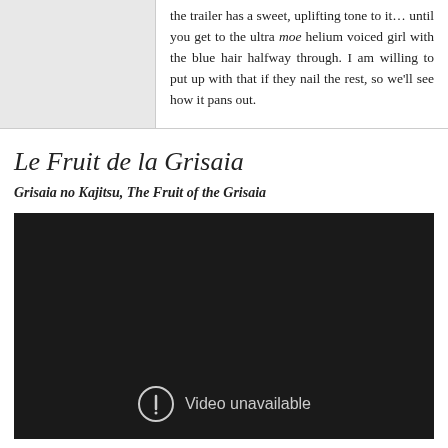the trailer has a sweet, uplifting tone to it… until you get to the ultra moe helium voiced girl with the blue hair halfway through. I am willing to put up with that if they nail the rest, so we'll see how it pans out.
Le Fruit de la Grisaia
Grisaia no Kajitsu, The Fruit of the Grisaia
[Figure (screenshot): Embedded video player showing 'Video unavailable' message on a dark background with a warning icon.]